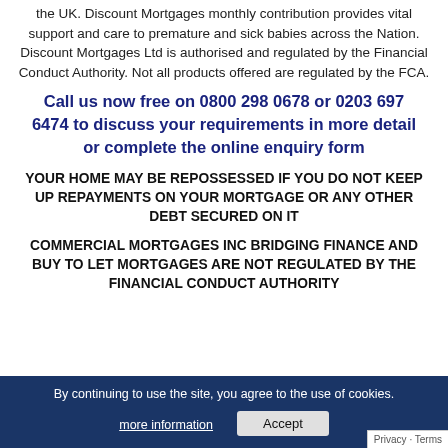the UK. Discount Mortgages monthly contribution provides vital support and care to premature and sick babies across the Nation. Discount Mortgages Ltd is authorised and regulated by the Financial Conduct Authority. Not all products offered are regulated by the FCA.
Call us now free on 0800 298 0678 or 0203 697 6474 to discuss your requirements in more detail or complete the online enquiry form
YOUR HOME MAY BE REPOSSESSED IF YOU DO NOT KEEP UP REPAYMENTS ON YOUR MORTGAGE OR ANY OTHER DEBT SECURED ON IT
COMMERCIAL MORTGAGES INC BRIDGING FINANCE AND BUY TO LET MORTGAGES ARE NOT REGULATED BY THE FINANCIAL CONDUCT AUTHORITY
By continuing to use the site, you agree to the use of cookies.
more information
Accept
Privacy · Terms